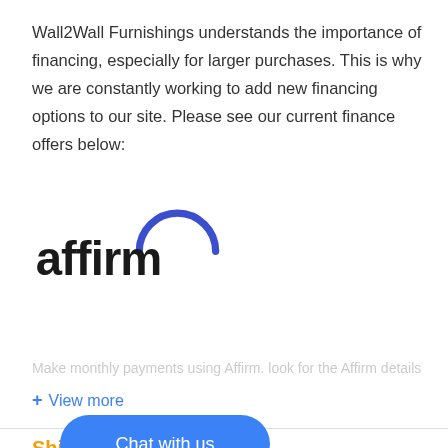Wall2Wall Furnishings understands the importance of financing, especially for larger purchases. This is why we are constantly working to add new financing options to our site. Please see our current finance offers below:
[Figure (logo): Affirm logo — the word 'affirm' in bold black lowercase letters with a blue arc/semicircle above the letters 'irm']
Make monthly payments using Affirm. look for the Affirm details on
+ View more
Shipping Policies
Due to high order volume some transit times might experience delays.
[Figure (other): Blue rounded rectangle chat button overlay with text 'Chat with us']